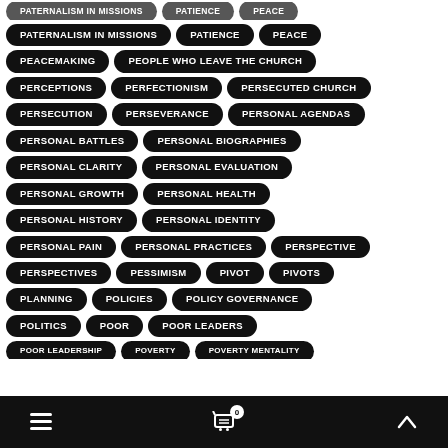PATERNALISM IN MISSIONS
PATIENCE
PEACE
PEACEMAKING
PEOPLE WHO LEAVE THE CHURCH
PERCEPTIONS
PERFECTIONISM
PERSECUTED CHURCH
PERSECUTION
PERSEVERANCE
PERSONAL AGENDAS
PERSONAL BATTLES
PERSONAL BIOGRAPHIES
PERSONAL CLARITY
PERSONAL EVALUATION
PERSONAL GROWTH
PERSONAL HEALTH
PERSONAL HISTORY
PERSONAL IDENTITY
PERSONAL PAIN
PERSONAL PRACTICES
PERSPECTIVE
PERSPECTIVES
PESSIMISM
PIVOT
PIVOTS
PLANNING
POLICIES
POLICY GOVERNANCE
POLITICS
POOR
POOR LEADERS
POOR LEADERSHIP
POVERTY
POVERTY MENTALITY